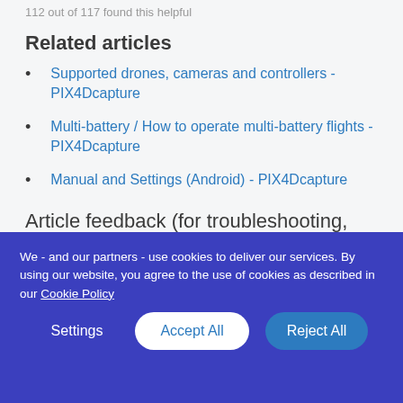112 out of 117 found this helpful
Related articles
Supported drones, cameras and controllers - PIX4Dcapture
Multi-battery / How to operate multi-battery flights - PIX4Dcapture
Manual and Settings (Android) - PIX4Dcapture
Article feedback (for troubleshooting, post here)
We - and our partners - use cookies to deliver our services. By using our website, you agree to the use of cookies as described in our Cookie Policy
Settings | Accept All | Reject All